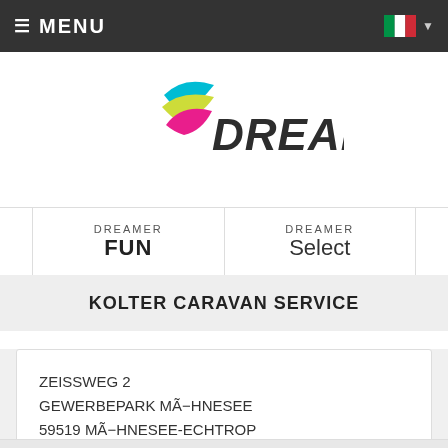≡ MENU
[Figure (logo): Dreamer brand logo with colorful swoosh (cyan, yellow, pink) and italic DREAMER text in dark gray]
| DREAMER
FUN | DREAMER
Select |
KOLTER CARAVAN SERVICE
ZEISSWEG 2
GEWERBEPARK MÃ−HNESEE
59519 MÃ−HNESEE-ECHTROP